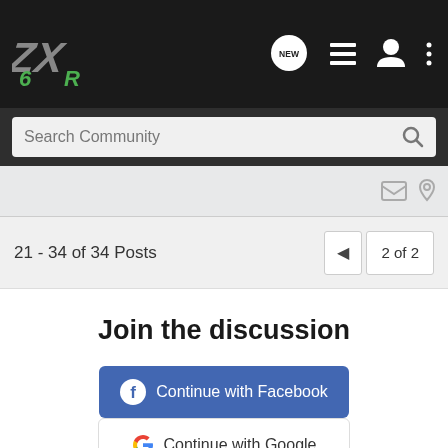ZX6R community forum navigation bar with logo, NEW chat icon, list icon, user icon, more options icon
Search Community
21 - 34 of 34 Posts
2 of 2
Join the discussion
Continue with Facebook
Continue with Google
or sign up with email